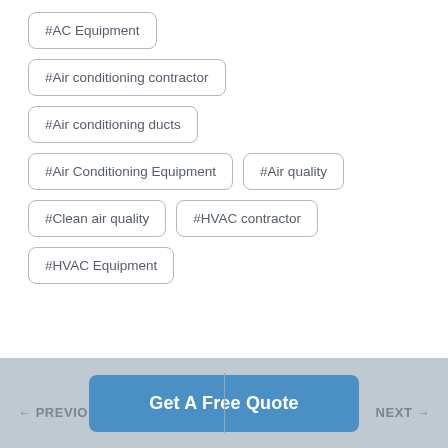#AC Equipment
#Air conditioning contractor
#Air conditioning ducts
#Air Conditioning Equipment
#Air quality
#Clean air quality
#HVAC contractor
#HVAC Equipment
← PREVIOUS   Get A Free Quote   NEXT →